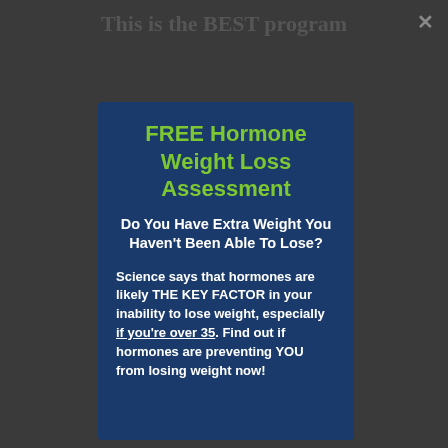This is the BEST program
FREE Hormone Weight Loss Assessment
Do You Have Extra Weight You Haven't Been Able To Lose?
Science says that hormones are likely THE KEY FACTOR in your inability to lose weight, especially if you're over 35. Find out if hormones are preventing YOU from losing weight now!